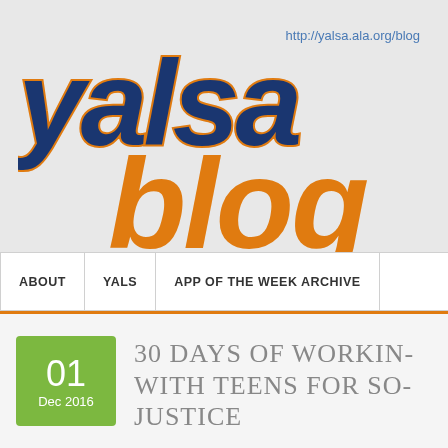[Figure (logo): YALSA blog logo — 'yalsa' in large dark navy bold italic letters with orange outline, 'blog' in large orange bold italic letters, URL http://yalsa.ala.org/blog in blue top right]
http://yalsa.ala.org/blog
ABOUT | YALS | APP OF THE WEEK ARCHIVE
30 DAYS OF WORKING WITH TEENS FOR SOCIAL JUSTICE
01 Dec 2016